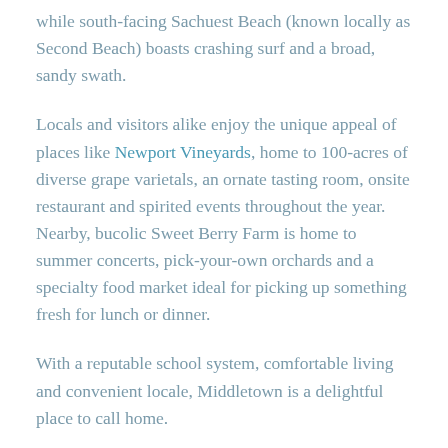while south-facing Sachuest Beach (known locally as Second Beach) boasts crashing surf and a broad, sandy swath.
Locals and visitors alike enjoy the unique appeal of places like Newport Vineyards, home to 100-acres of diverse grape varietals, an ornate tasting room, onsite restaurant and spirited events throughout the year. Nearby, bucolic Sweet Berry Farm is home to summer concerts, pick-your-own orchards and a specialty food market ideal for picking up something fresh for lunch or dinner.
With a reputable school system, comfortable living and convenient locale, Middletown is a delightful place to call home.
Start Your Middletown Real